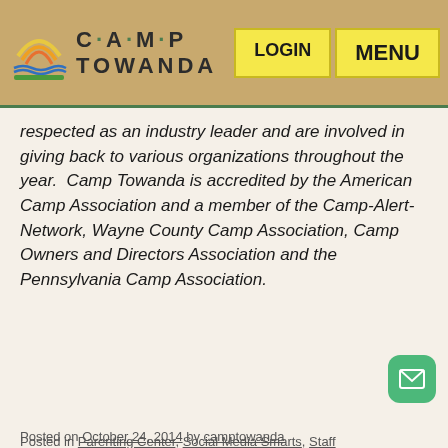Camp Towanda — LOGIN | MENU
respected as an industry leader and are involved in giving back to various organizations throughout the year. Camp Towanda is accredited by the American Camp Association and a member of the Camp-Alert-Network, Wayne County Camp Association, Camp Owners and Directors Association and the Pennsylvania Camp Association.
Posted in Parenting Center, Social Media Smarts, Staff
Tagged camp, college essay, college prep, how to get into college, how to make camp the best thing on your resume, how to put camp on your college application, resume, social media
Leave a comment
Posted on October 24, 2014 by camptowanda